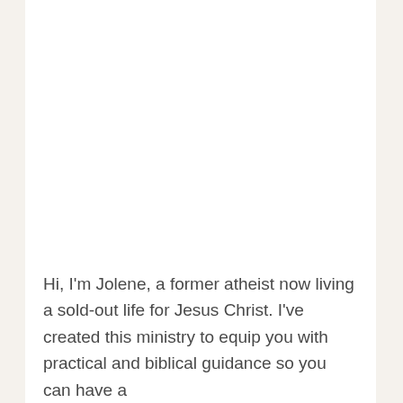Hi, I'm Jolene, a former atheist now living a sold-out life for Jesus Christ. I've created this ministry to equip you with practical and biblical guidance so you can have a